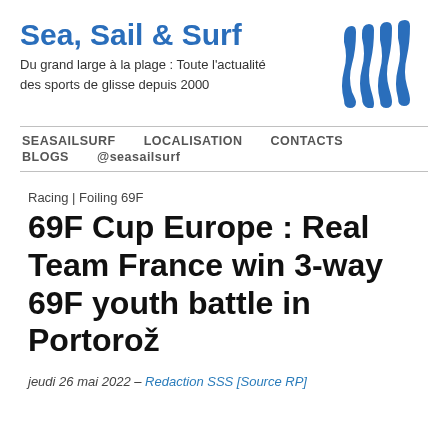Sea, Sail & Surf
Du grand large à la plage : Toute l'actualité des sports de glisse depuis 2000
[Figure (logo): Sea Sail Surf logo: four blue wave-like vertical shapes with rounded tops forming a stylized SSSS emblem]
SEASAILSURF   LOCALISATION   CONTACTS   BLOGS   @seasailsurf
Racing | Foiling 69F
69F Cup Europe : Real Team France win 3-way 69F youth battle in Portorož
jeudi 26 mai 2022 – Redaction SSS [Source RP]